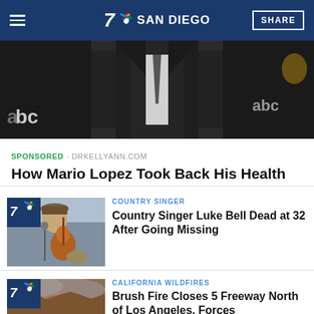7 NBC SAN DIEGO | SHARE
[Figure (photo): Man in black suit and tie, ABC logo visible in background, partial torso shot]
SPONSORED · DRKELLYANN.COM
How Mario Lopez Took Back His Health
[Figure (photo): Country singer with guitar, wearing hat, smiling on stage. NBC 7 badge in corner.]
COUNTRY SINGER
Country Singer Luke Bell Dead at 32 After Going Missing
[Figure (photo): Aerial view of fire/brush fire, smoke visible. NBC 7 badge in corner.]
CALIFORNIA WILDFIRES
Brush Fire Closes 5 Freeway North of Los Angeles, Forces